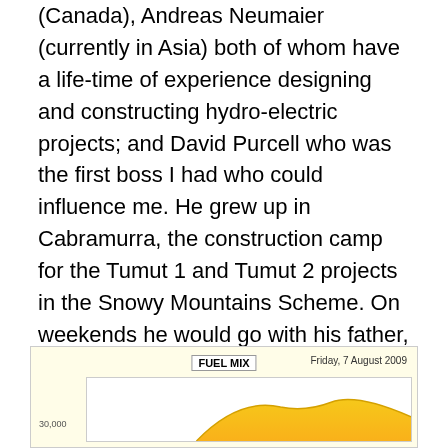(Canada), Andreas Neumaier (currently in Asia) both of whom have a life-time of experience designing and constructing hydro-electric projects; and David Purcell who was the first boss I had who could influence me. He grew up in Cabramurra, the construction camp for the Tumut 1 and Tumut 2 projects in the Snowy Mountains Scheme. On weekends he would go with his father, a civil engineer, around the scaffolding and walk-ways as he checked out the construction work and instrumentation on the Tumut Pond concrete arch dam, Tumut 2 Dam and the Tumut 1 and Tumut 2 underground power stations. What a way to start a life. Certainly, today's young can't get that sort of early experience of the real world.
[Figure (other): Partial view of a 'FUEL MIX' chart dated Friday, 7 August 2009, showing a y-axis label of 30,000 and a yellow/orange area chart partially visible at the bottom of the page.]